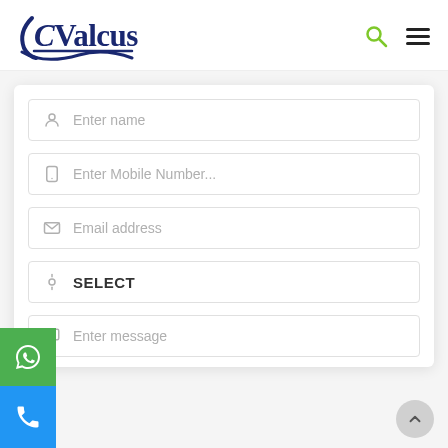[Figure (logo): CValcus company logo with dark blue text, italic C, wave underline graphic, on white header background]
[Figure (other): Search icon (magnifying glass, green) and hamburger menu icon (three horizontal lines, dark) in the header]
[Figure (screenshot): Web contact form with fields: Enter name, Enter Mobile Number..., Email address, SELECT dropdown, Enter message. WhatsApp green button and phone blue button on bottom left. Up arrow circle bottom right.]